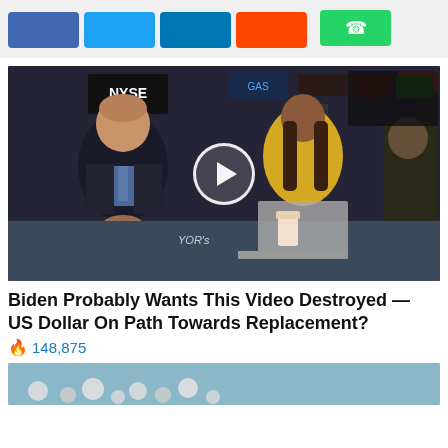[Figure (screenshot): Social share buttons row: Facebook, Twitter, LinkedIn, Reddit buttons (colored rectangles), and a green WhatsApp button below]
[Figure (photo): Video thumbnail showing NYSE trading floor scene with a man in a dark suit sitting at a desk, a woman in yellow, another woman partially visible, NYSE signage visible in background, with a white circular play button overlay in the center. Watermark 'YOR's' visible.]
Biden Probably Wants This Video Destroyed — US Dollar On Path Towards Replacement?
🔥 148,875
[Figure (photo): Partial view of a teal/blue background with small round objects (possibly pearls or beads) visible at bottom of page]